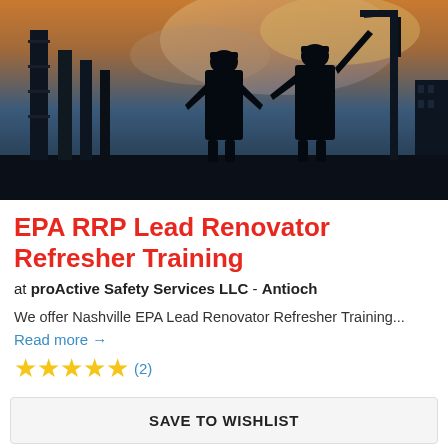[Figure (photo): Silhouette of two construction workers in hard hats against a dramatic sky with construction cranes and pillars in the background]
EPA RRP Lead Renovator Refresher Training
at proActive Safety Services LLC - Antioch
We offer Nashville EPA Lead Renovator Refresher Training...
Read more →
★★★★★ (2)
SAVE TO WISHLIST